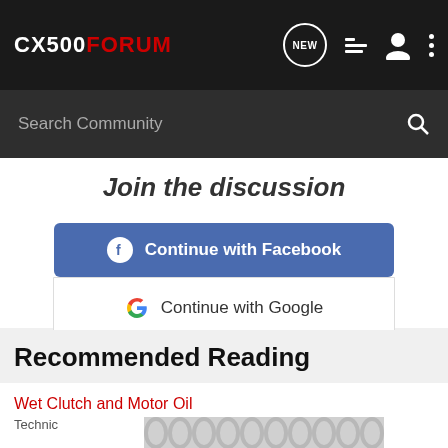CX500FORUM
Search Community
Join the discussion
[Figure (illustration): Continue with Facebook button - blue rounded rectangle with Facebook logo icon and white text]
[Figure (illustration): Continue with Google button - white rounded rectangle with Google G logo and dark text]
or sign up with email
Recommended Reading
Wet Clutch and Motor Oil
Techni
[Figure (photo): Thumbnail image with gray chain link pattern]